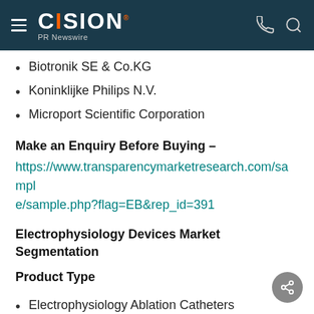CISION PR Newswire
Biotronik SE & Co.KG
Koninklijke Philips N.V.
Microport Scientific Corporation
Make an Enquiry Before Buying –
https://www.transparencymarketresearch.com/sample/sample.php?flag=EB&rep_id=391
Electrophysiology Devices Market Segmentation
Product Type
Electrophysiology Ablation Catheters